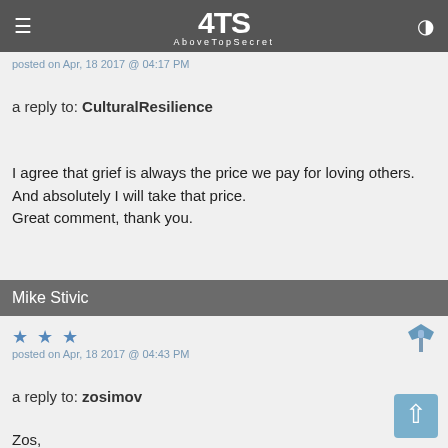4TS AboveTopSecret
posted on Apr, 18 2017 @ 04:17 PM
a reply to: CulturalResilience
I agree that grief is always the price we pay for loving others. And absolutely I will take that price. Great comment, thank you.
Mike Stivic
posted on Apr, 18 2017 @ 04:43 PM
a reply to: zosimov
Zos,

Deleted. I didn't realize how much I wasn't ready to deal with this.. my apologies
To the thread,gonna go down into the meat freezer and dig